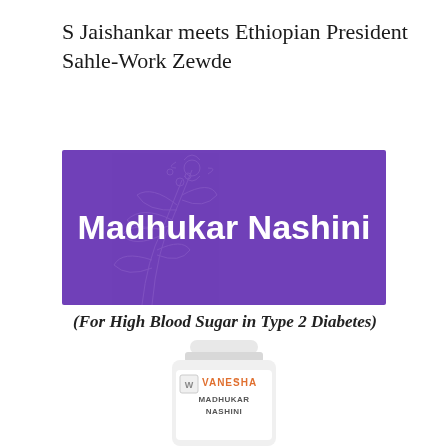S Jaishankar meets Ethiopian President Sahle-Work Zewde
[Figure (illustration): Purple banner advertisement for Madhukar Nashini product with decorative floral outline in background and bold white text reading 'Madhukar Nashini']
(For High Blood Sugar in Type 2 Diabetes)
[Figure (photo): White pill/supplement bottle labeled 'VANESHA MADHUKAR NASHINI' with orange brand text on white label]